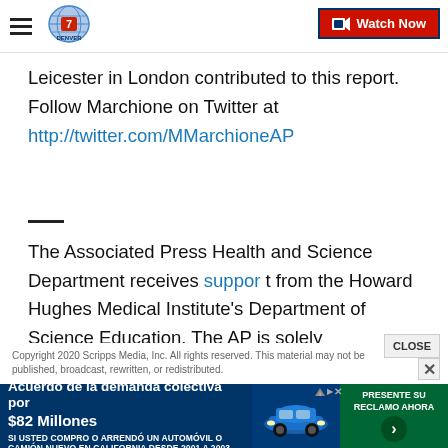Denver7 — Watch Now
Leicester in London contributed to this report. Follow Marchione on Twitter at
http://twitter.com/MMarchioneAP
The Associated Press Health and Science Department receives support from the Howard Hughes Medical Institute's Department of Science Education. The AP is solely responsible for all content.
Copyright 2020 Scripps Media, Inc. All rights reserved. This material may not be published, broadcast, rewritten, or redistributed.
[Figure (other): Advertisement banner in Spanish: Acuerdo de la demanda colectiva por $82 Millones — SI USTED COMPRO O ARRENDÓ UN AUTOMÓVIL O CAMIÓN NUEVO EN CALIFORNIA DESDE 2001 A 2003 — with car image and PRESENTE SU RECLAMO AHORA button]